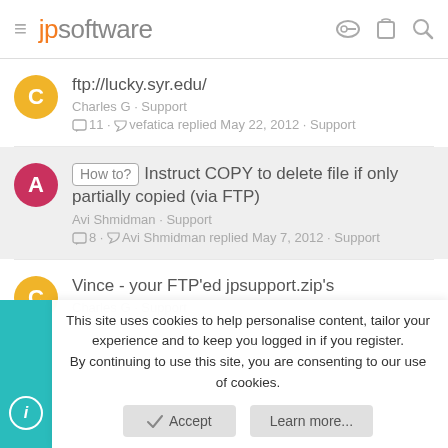jpsoftware
ftp://lucky.syr.edu/ — Charles G · Support — 11 · vefatica replied May 22, 2012 · Support
How to? Instruct COPY to delete file if only partially copied (via FTP) — Avi Shmidman · Support — 8 · Avi Shmidman replied May 7, 2012 · Support
Vince - your FTP'ed jpsupport.zip's — Charles G · Support
This site uses cookies to help personalise content, tailor your experience and to keep you logged in if you register. By continuing to use this site, you are consenting to our use of cookies.